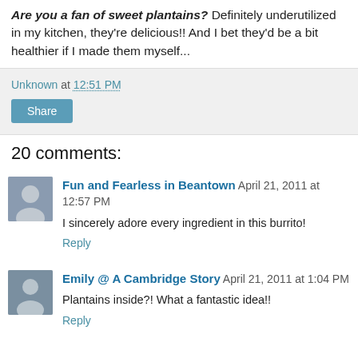Are you a fan of sweet plantains? Definitely underutilized in my kitchen, they're delicious!! And I bet they'd be a bit healthier if I made them myself...
Unknown at 12:51 PM
Share
20 comments:
Fun and Fearless in Beantown April 21, 2011 at 12:57 PM
I sincerely adore every ingredient in this burrito!
Reply
Emily @ A Cambridge Story April 21, 2011 at 1:04 PM
Plantains inside?! What a fantastic idea!!
Reply